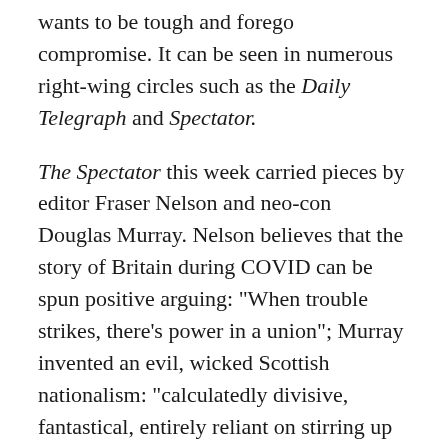wants to be tough and forego compromise. It can be seen in numerous right-wing circles such as the Daily Telegraph and Spectator.
The Spectator this week carried pieces by editor Fraser Nelson and neo-con Douglas Murray. Nelson believes that the story of Britain during COVID can be spun positive arguing: "When trouble strikes, there's power in a union"; Murray invented an evil, wicked Scottish nationalism: "calculatedly divisive, fantastical, entirely reliant on stirring up hatred" out to "destroy a union they have no right to destroy."
Elsewhere there are voices of more moderate unionism such as former Tory leader William Hague who argue that the devil is in the detail and there can be no indyref until every aspect is answered: "The